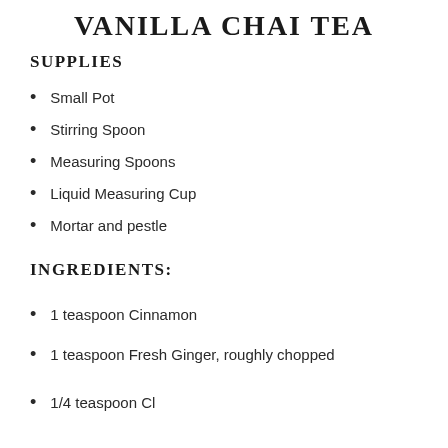VANILLA CHAI TEA
SUPPLIES
Small Pot
Stirring Spoon
Measuring Spoons
Liquid Measuring Cup
Mortar and pestle
INGREDIENTS:
1 teaspoon Cinnamon
1 teaspoon Fresh Ginger, roughly chopped
1/4 teaspoon Cl...